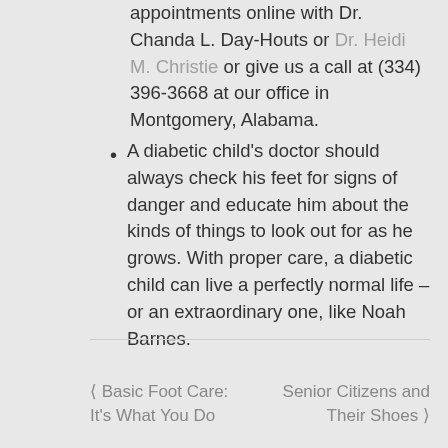appointments online with Dr. Chanda L. Day-Houts or Dr. Heidi M. Christie or give us a call at (334) 396-3668 at our office in Montgomery, Alabama.
A diabetic child's doctor should always check his feet for signs of danger and educate him about the kinds of things to look out for as he grows. With proper care, a diabetic child can live a perfectly normal life – or an extraordinary one, like Noah Barnes.
< Basic Foot Care: It's What You Do    Senior Citizens > and Their Shoes